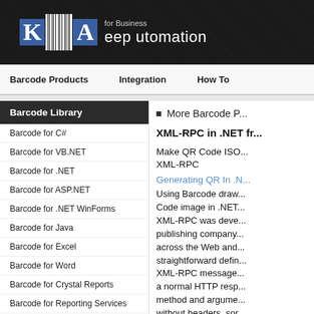Keep Automation for Business
Barcode Products | Integration | How To
Barcode Library
Barcode for C#
Barcode for VB.NET
Barcode for .NET
Barcode for ASP.NET
Barcode for .NET WinForms
Barcode for Java
Barcode for Excel
Barcode for Word
Barcode for Crystal Reports
Barcode for Reporting Services
More Barcode P...
XML-RPC in .NET fr...
Make QR Code ISO... XML-RPC
Generating QR In .N...
Using Barcode draw... Code image in .NET... XML-RPC was deve... publishing company... across the Web and... straightforward defin... XML-RPC message... a normal HTTP resp... method and argume... without headers, sor...